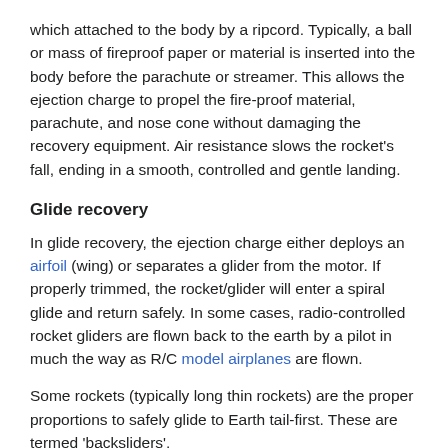which attached to the body by a ripcord. Typically, a ball or mass of fireproof paper or material is inserted into the body before the parachute or streamer. This allows the ejection charge to propel the fire-proof material, parachute, and nose cone without damaging the recovery equipment. Air resistance slows the rocket's fall, ending in a smooth, controlled and gentle landing.
Glide recovery
In glide recovery, the ejection charge either deploys an airfoil (wing) or separates a glider from the motor. If properly trimmed, the rocket/glider will enter a spiral glide and return safely. In some cases, radio-controlled rocket gliders are flown back to the earth by a pilot in much the way as R/C model airplanes are flown.
Some rockets (typically long thin rockets) are the proper proportions to safely glide to Earth tail-first. These are termed 'backsliders'.
Helicopter recovery
The ejection charge, through one of several methods, deploys